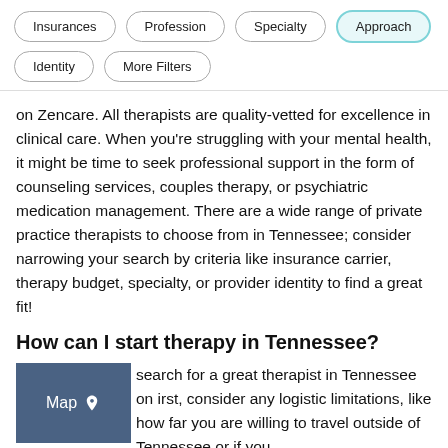Insurances
Profession
Specialty
Approach
Identity
More Filters
on Zencare. All therapists are quality-vetted for excellence in clinical care. When you’re struggling with your mental health, it might be time to seek professional support in the form of counseling services, couples therapy, or psychiatric medication management. There are a wide range of private practice therapists to choose from in Tennessee; consider narrowing your search by criteria like insurance carrier, therapy budget, specialty, or provider identity to find a great fit!
How can I start therapy in Tennessee?
search for a great therapist in Tennessee on irst, consider any logistic limitations, like how far you are willing to travel outside of Tennessee or if you
[Figure (other): Map button with location pin icon and text 'Map']